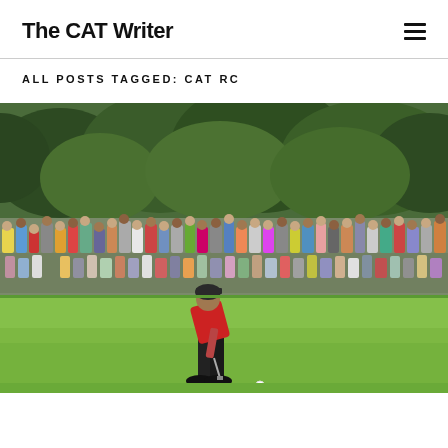The CAT Writer
ALL POSTS TAGGED: CAT RC
[Figure (photo): A golfer in a red shirt and black cap bent over putting on a green, with a large crowd of spectators watching in the background surrounded by trees.]